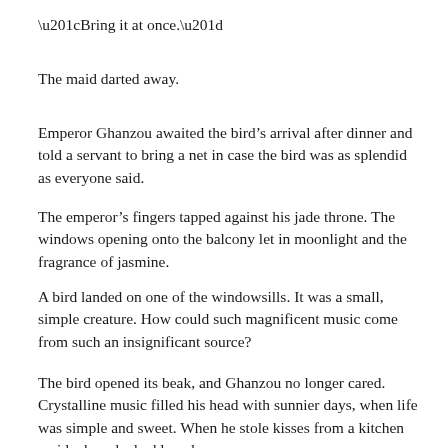“Bring it at once.”
The maid darted away.
Emperor Ghanzou awaited the bird’s arrival after dinner and told a servant to bring a net in case the bird was as splendid as everyone said.
The emperor’s fingers tapped against his jade throne. The windows opening onto the balcony let in moonlight and the fragrance of jasmine.
A bird landed on one of the windowsills. It was a small, simple creature. How could such magnificent music come from such an insignificant source?
The bird opened its beak, and Ghanzou no longer cared. Crystalline music filled his head with sunnier days, when life was simple and sweet. When he stole kisses from a kitchen maid whom he had loved